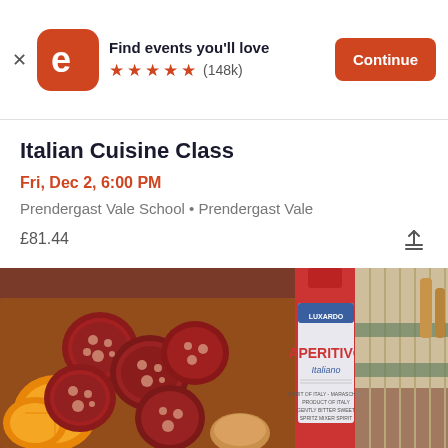Find events you'll love ★★★★★ (148k) Continue
Italian Cuisine Class
Fri, Dec 2, 6:00 PM
Prendergast Vale School • Prendergast Vale
£81.44
[Figure (photo): Italian charcuterie board with salami slices, orange, and a bottle of Luxardo Aperitivo Italiano, with a woven basket and checkered cloth in background]